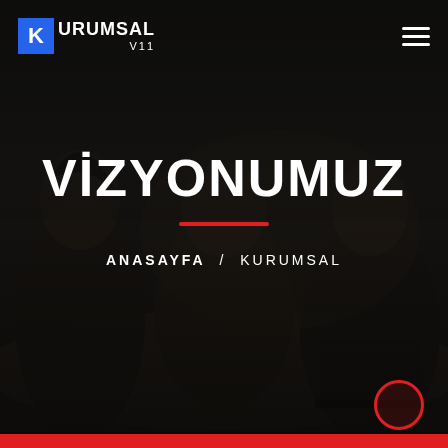[Figure (screenshot): Dark background photo of people sitting around a table in a meeting/office setting, heavily darkened with overlay]
KURUMSAL V11
VİZYONUMUZ
ANASAYFA / KURUMSAL